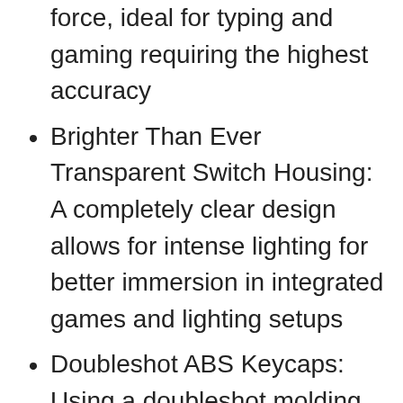force, ideal for typing and gaming requiring the highest accuracy
Brighter Than Ever Transparent Switch Housing: A completely clear design allows for intense lighting for better immersion in integrated games and lighting setups
Doubleshot ABS Keycaps: Using a doubleshot molding process to ensure the labelling never wears off, the keycaps also have extra-thick walls for toughness
Ergonomic, Magnetic Wrist Rest: Made of plush leatherette to